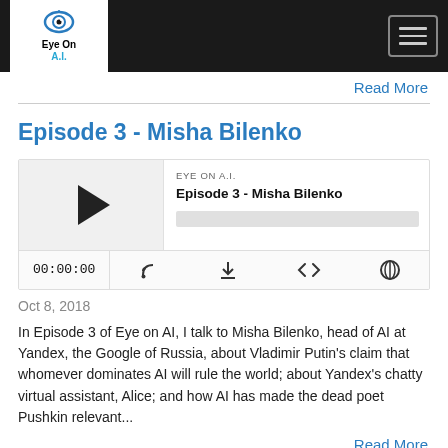Eye On A.I. — navigation header with logo and hamburger menu
Read More
Episode 3 - Misha Bilenko
[Figure (other): Podcast player widget showing EYE ON A.I. Episode 3 - Misha Bilenko with play button, progress bar, time display 00:00:00 and control icons]
Oct 8, 2018
In Episode 3 of Eye on AI, I talk to Misha Bilenko, head of AI at Yandex, the Google of Russia, about Vladimir Putin's claim that whomever dominates AI will rule the world; about Yandex's chatty virtual assistant, Alice; and how AI has made the dead poet Pushkin relevant...
Read More